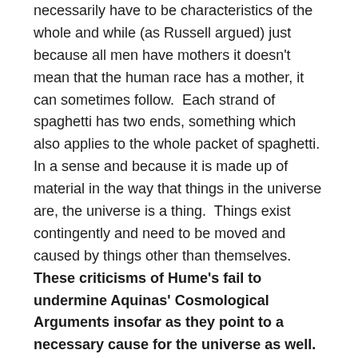necessarily have to be characteristics of the whole and while (as Russell argued) just because all men have mothers it doesn't mean that the human race has a mother, it can sometimes follow.  Each strand of spaghetti has two ends, something which also applies to the whole packet of spaghetti.  In a sense and because it is made up of material in the way that things in the universe are, the universe is a thing.  Things exist contingently and need to be moved and caused by things other than themselves.  These criticisms of Hume's fail to undermine Aquinas' Cosmological Arguments insofar as they point to a necessary cause for the universe as well.
Nevertheless, Cleanthes' criticism that the cause of the universe could not be said to have the attributes of the Christian God is, for reasons previously explored, is